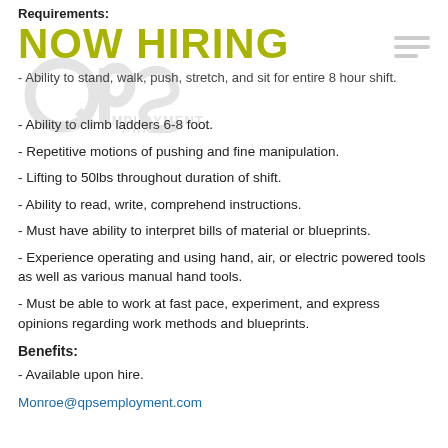Requirements:
[Figure (logo): NOW HIRING text in large olive/yellow-green bold font with QPS Employment Group watermark logo overlaid in background]
- Ability to stand, walk, push, stretch, and sit for entire 8 hour shift.
- Ability to climb ladders 6-8 foot.
- Repetitive motions of pushing and fine manipulation.
- Lifting to 50lbs throughout duration of shift.
- Ability to read, write, comprehend instructions.
- Must have ability to interpret bills of material or blueprints.
- Experience operating and using hand, air, or electric powered tools as well as various manual hand tools.
- Must be able to work at fast pace, experiment, and express opinions regarding work methods and blueprints.
Benefits:
- Available upon hire.
Monroe@qpsemployment.com